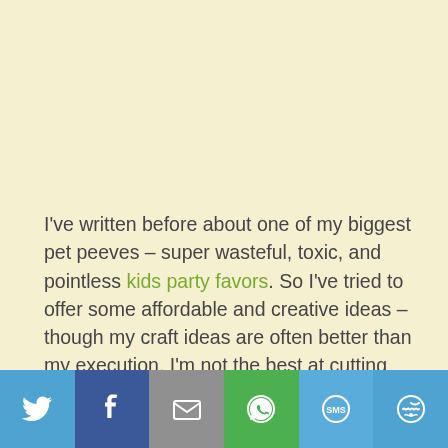I've written before about one of my biggest pet peeves – super wasteful, toxic, and pointless kids party favors. So I've tried to offer some affordable and creative ideas – though my craft ideas are often better than my execution. I'm not the best at cutting straight lines or coloring between the lines. However, I was pleased enough with my Despicable Me Wine Cork Minions and recycled crayons for Sam's 4th birthday.
[Figure (infographic): Social sharing bar with icons for Twitter, Facebook, Email, WhatsApp, SMS, and More]